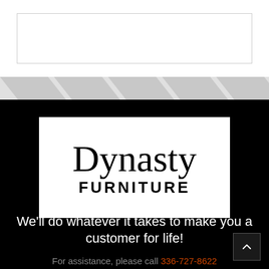[Figure (other): Empty white rectangular box at top of page]
[Figure (other): Decorative chevron/diagonal stripe pattern strip dividing white and black sections]
[Figure (logo): Dynasty Furniture logo — white box with large serif 'Dynasty' text and bold sans-serif 'FURNITURE' text below]
We'll do whatever it takes to make you a customer for life!
For assistance, please call 336-727-8622